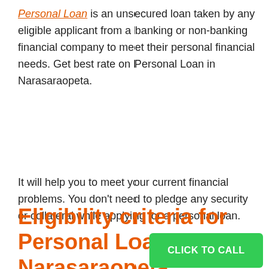Personal Loan is an unsecured loan taken by any eligible applicant from a banking or non-banking financial company to meet their personal financial needs. Get best rate on Personal Loan in Narasaraopeta.
It will help you to meet your current financial problems. You don't need to pledge any security or collateral while applying for a personal loan.
Eligibility criteria for Personal Loan in Narasaraopeta
CLICK TO CALL